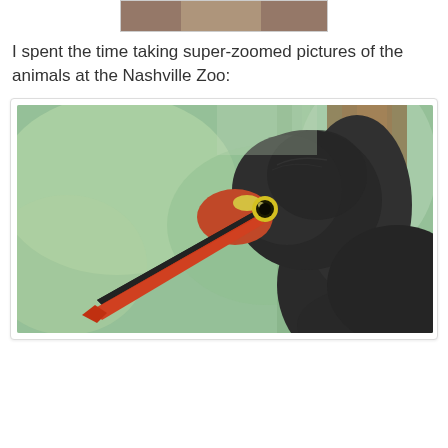[Figure (photo): Top portion of a zoomed photo of an animal at Nashville Zoo, partially visible at top of page]
I spent the time taking super-zoomed pictures of the animals at the Nashville Zoo:
[Figure (photo): Close-up super-zoomed photograph of a saddle-billed stork at the Nashville Zoo. The bird has a dark/black head and neck with a long distinctive beak that is black with a red/orange lower portion, a yellow eye ring, and a pinkish-red bare facial patch near the eye. The background shows blurred green foliage and brown tree bark.]